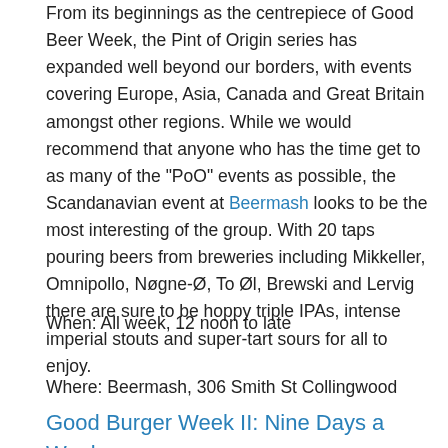From its beginnings as the centrepiece of Good Beer Week, the Pint of Origin series has expanded well beyond our borders, with events covering Europe, Asia, Canada and Great Britain amongst other regions. While we would recommend that anyone who has the time get to as many of the "PoO" events as possible, the Scandanavian event at Beermash looks to be the most interesting of the group. With 20 taps pouring beers from breweries including Mikkeller, Omnipollo, Nøgne-Ø, To Øl, Brewski and Lervig there are sure to be hoppy triple IPAs, intense imperial stouts and super-tart sours for all to enjoy.
When: All week, 12 noon to late
Where: Beermash, 306 Smith St Collingwood
Good Burger Week II: Nine Days a Week